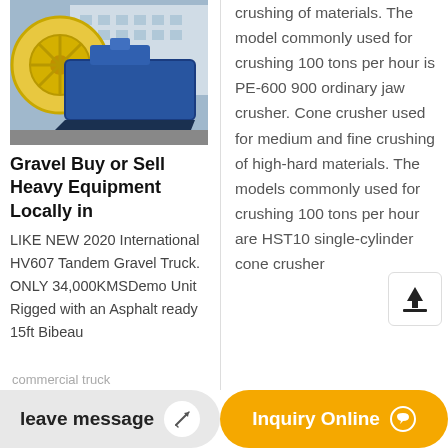[Figure (photo): Industrial machinery (sand washing or crushing equipment) photographed outdoors near a building, yellow and blue machine]
Gravel Buy or Sell Heavy Equipment Locally in
LIKE NEW 2020 International HV607 Tandem Gravel Truck. ONLY 34,000KMSDemo Unit Rigged with an Asphalt ready 15ft Bibeau
crushing of materials. The model commonly used for crushing 100 tons per hour is PE-600 900 ordinary jaw crusher. Cone crusher used for medium and fine crushing of high-hard materials. The models commonly used for crushing 100 tons per hour are HST10 single-cylinder cone crusher